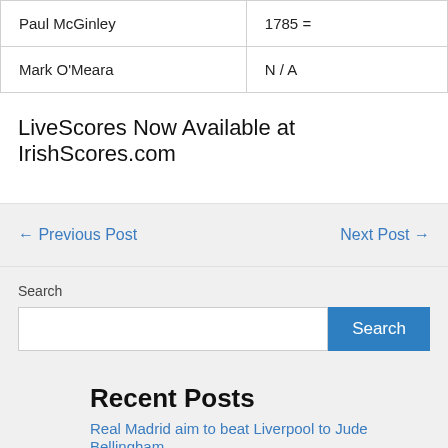| Paul McGinley | 1785 = |
| Mark O'Meara | N / A |
LiveScores Now Available at IrishScores.com
← Previous Post
Next Post →
Search
Recent Posts
Real Madrid aim to beat Liverpool to Jude Bellingham